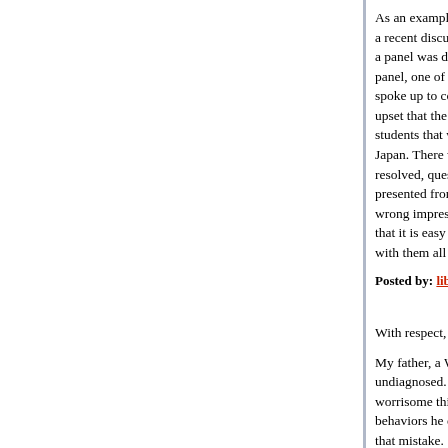As an example that doesn't get into the messiness a recent discussion of an event at a large conference a panel was discussing modern Japanese manga panel, one of the Japanese participants of the conference spoke up to complain that the manga used were upset that the speakers were presenting these images to students that what was portrayed in the manga was Japan. There was an interesting discussion about resolved, questions that dealt with what viewpoints it was presented from, how a researcher's focus on a particular wrong impression and a number of other interesting issues that it is easy to lose sight of how shocking some with them all the time.
Posted by: liberal japonicus | May 26, 2014 at 08:09 PM
With respect, you're misreading, Nombrilisme Vide
My father, a WWII veteran, most definitely suffered undiagnosed. My guess is that PTSD of parents worrisome things that happened in the next generation behaviors he exhibited became a cultural issue. I that mistake.